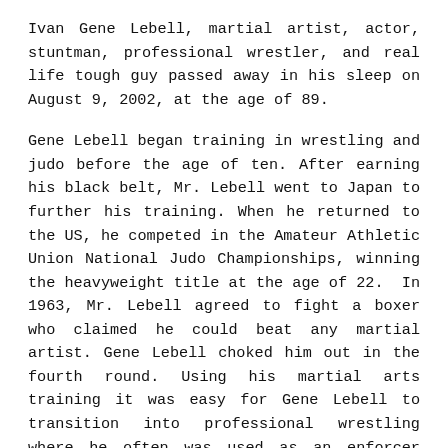Ivan Gene Lebell, martial artist, actor, stuntman, professional wrestler, and real life tough guy passed away in his sleep on August 9, 2002, at the age of 89.
Gene Lebell began training in wrestling and judo before the age of ten. After earning his black belt, Mr. Lebell went to Japan to further his training. When he returned to the US, he competed in the Amateur Athletic Union National Judo Championships, winning the heavyweight title at the age of 22. In 1963, Mr. Lebell agreed to fight a boxer who claimed he could beat any martial artist. Gene Lebell choked him out in the fourth round. Using his martial arts training it was easy for Gene Lebell to transition into professional wrestling where he often was used as an enforcer during big matches.